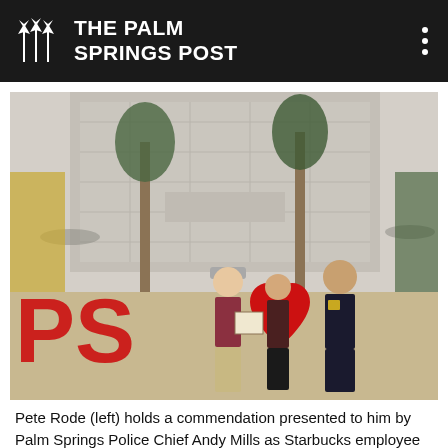THE PALM SPRINGS POST
[Figure (photo): Three people standing outdoors in front of a 'PS love' red sculpture installation. A man on the left wearing a gray cap and maroon shirt holds a commendation/plaque. A woman in the center wears a dark maroon Starbucks-style uniform. A man on the right wears a black police uniform. Background shows palm trees and a modern building.]
Pete Rode (left) holds a commendation presented to him by Palm Springs Police Chief Andy Mills as Starbucks employee